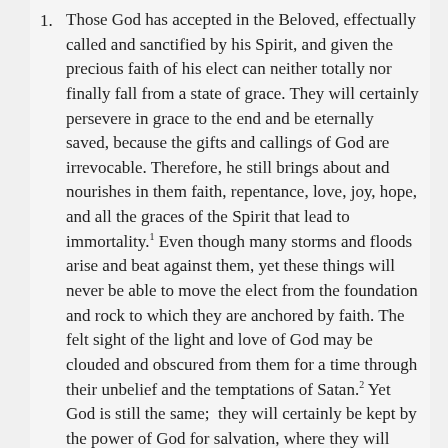Those God has accepted in the Beloved, effectually called and sanctified by his Spirit, and given the precious faith of his elect can neither totally nor finally fall from a state of grace. They will certainly persevere in grace to the end and be eternally saved, because the gifts and callings of God are irrevocable. Therefore, he still brings about and nourishes in them faith, repentance, love, joy, hope, and all the graces of the Spirit that lead to immortality.¹ Even though many storms and floods arise and beat against them, yet these things will never be able to move the elect from the foundation and rock to which they are anchored by faith. The felt sight of the light and love of God may be clouded and obscured from them for a time through their unbelief and the temptations of Satan.² Yet God is still the same; they will certainly be kept by the power of God for salvation, where they will enjoy their